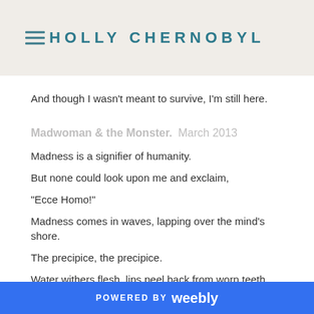HOLLY CHERNOBYL
And though I wasn't meant to survive, I'm still here.
Madwoman & the Monster.  March 2013
Madness is a signifier of humanity.
But none could look upon me and exclaim,
"Ecce Homo!"
Madness comes in waves, lapping over the mind's shore.
The precipice, the precipice.
Water withers flesh, lips peel back from worn teeth. Tongue lolls.
Drying out, shriveling.
POWERED BY weebly